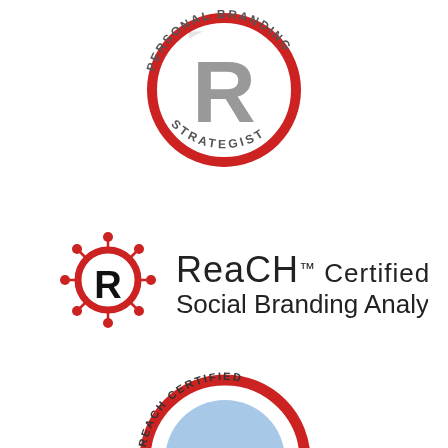[Figure (logo): REACH Personal Branding Strategist circular badge logo in grey and red, with large R letter inside a circle and curved text around it reading 'PERSONAL BRANDING' and 'STRATEGIST']
[Figure (logo): REACH Certified Social Branding Analyst logo with red hub-and-spoke icon featuring an R in a red circle with radiating lines ending in dots, followed by text 'Reach Certified Social Branding Analyst' with a TM mark]
[Figure (logo): REACH Certified Online Identity circular badge logo partially visible at the bottom, with red and blue colors and curved text reading 'REACH CERTIFIED' and 'ONLINE IDENTITY']